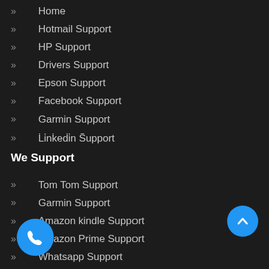Home
Hotmail Support
HP Support
Drivers Support
Epson Support
Facebook Support
Garmin Support
Linkedin Support
We Support
Tom Tom Support
Garmin Support
Amazon kindle Support
Amazon Prime Support
Whatsapp Support
Instagram Support
Linkedin Support
Google Plus Support
Quick Links